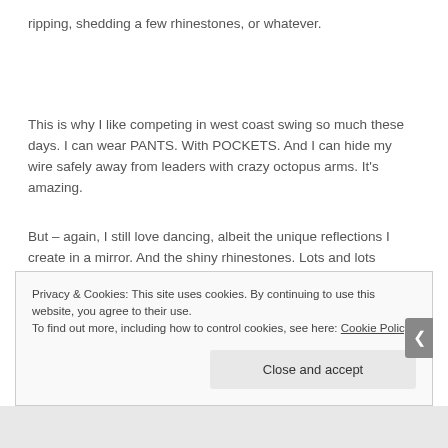ripping, shedding a few rhinestones, or whatever.
This is why I like competing in west coast swing so much these days. I can wear PANTS. With POCKETS. And I can hide my wire safely away from leaders with crazy octopus arms. It’s amazing.
But – again, I still love dancing, albeit the unique reflections I create in a mirror. And the shiny rhinestones. Lots and lots
Privacy & Cookies: This site uses cookies. By continuing to use this website, you agree to their use.
To find out more, including how to control cookies, see here: Cookie Policy
Close and accept